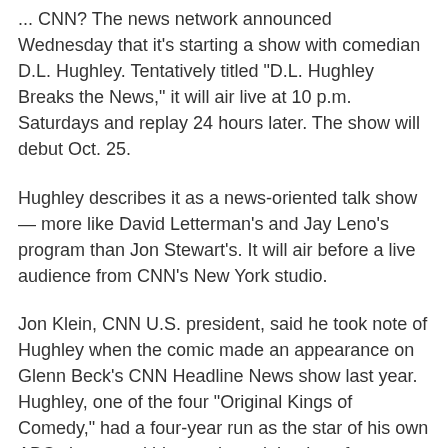... CNN? The news network announced Wednesday that it's starting a show with comedian D.L. Hughley. Tentatively titled "D.L. Hughley Breaks the News," it will air live at 10 p.m. Saturdays and replay 24 hours later. The show will debut Oct. 25.
Hughley describes it as a news-oriented talk show — more like David Letterman's and Jay Leno's program than Jon Stewart's. It will air before a live audience from CNN's New York studio.
Jon Klein, CNN U.S. president, said he took note of Hughley when the comic made an appearance on Glenn Beck's CNN Headline News show last year. Hughley, one of the four "Original Kings of Comedy," had a four-year run as the star of his own ABC sitcom and his own late-night show for Comedy Central.
Hughley was shopping his prospective one-hour